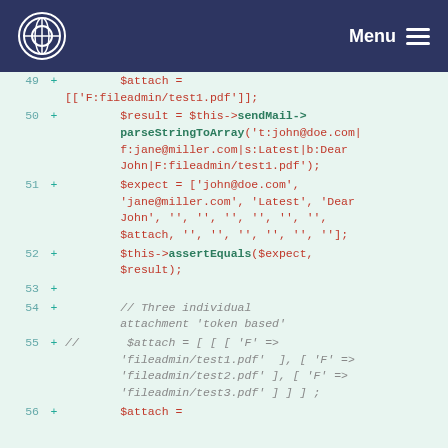Menu
[Figure (screenshot): Code diff viewer showing PHP code lines 49-56 with line numbers in teal, plus signs in green, and code in red/dark green on a light mint background.]